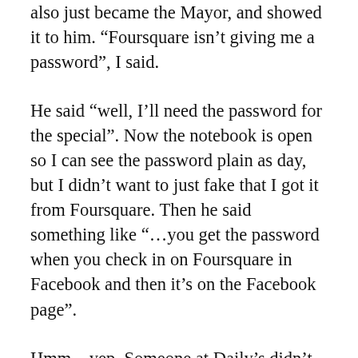also just became the Mayor, and showed it to him. “Foursquare isn’t giving me a password”, I said.
He said “well, I’ll need the password for the special”. Now the notebook is open so I can see the password plain as day, but I didn’t want to just fake that I got it from Foursquare. Then he said something like “…you get the password when you check in on Foursquare in Facebook and then it’s on the Facebook page”.
Hmm…yep. Someone at Daily’s didn’t quite understand how to explain it to the clerks. After all the time spent putting the program together, the value was lost on me because the clerk didn’t get it. We argued for 10 more